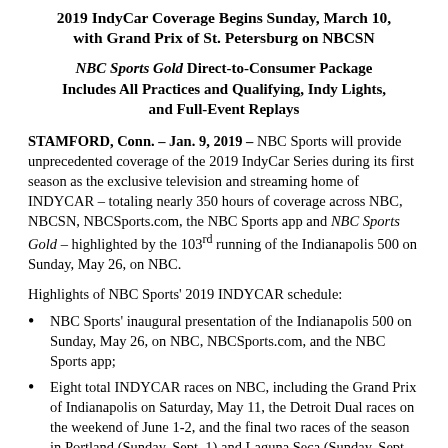2019 IndyCar Coverage Begins Sunday, March 10, with Grand Prix of St. Petersburg on NBCSN
NBC Sports Gold Direct-to-Consumer Package Includes All Practices and Qualifying, Indy Lights, and Full-Event Replays
STAMFORD, Conn. – Jan. 9, 2019 – NBC Sports will provide unprecedented coverage of the 2019 IndyCar Series during its first season as the exclusive television and streaming home of INDYCAR – totaling nearly 350 hours of coverage across NBC, NBCSN, NBCSports.com, the NBC Sports app and NBC Sports Gold – highlighted by the 103rd running of the Indianapolis 500 on Sunday, May 26, on NBC.
Highlights of NBC Sports' 2019 INDYCAR schedule:
NBC Sports' inaugural presentation of the Indianapolis 500 on Sunday, May 26, on NBC, NBCSports.com, and the NBC Sports app;
Eight total INDYCAR races on NBC, including the Grand Prix of Indianapolis on Saturday, May 11, the Detroit Dual races on the weekend of June 1-2, and the final two races of the season in Portland (Sunday, Sept. 1) and Laguna Seca (Sunday, Sept. 22).
Extensive coverage on NBC Sports Gold – NBC Sports'